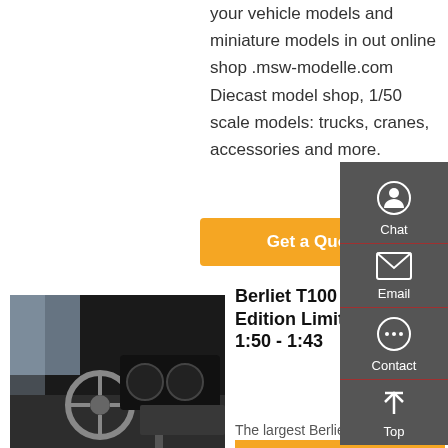your vehicle models and miniature models in out online shop .msw-modelle.com Diecast model shop, 1/50 scale models: trucks, cranes, accessories and more.
Get a Quote
[Figure (photo): Interior dashboard view of a truck cab]
Berliet T100 N°3 1959 - Edition Limitée - 1:12 - 1:50 - 1:43
The largest Berliet ever: The T100 - BIGtruck Magazine